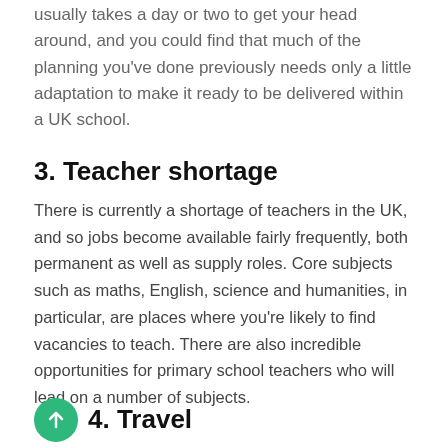usually takes a day or two to get your head around, and you could find that much of the planning you've done previously needs only a little adaptation to make it ready to be delivered within a UK school.
3. Teacher shortage
There is currently a shortage of teachers in the UK, and so jobs become available fairly frequently, both permanent as well as supply roles. Core subjects such as maths, English, science and humanities, in particular, are places where you're likely to find vacancies to teach. There are also incredible opportunities for primary school teachers who will lead on a number of subjects.
4. Travel